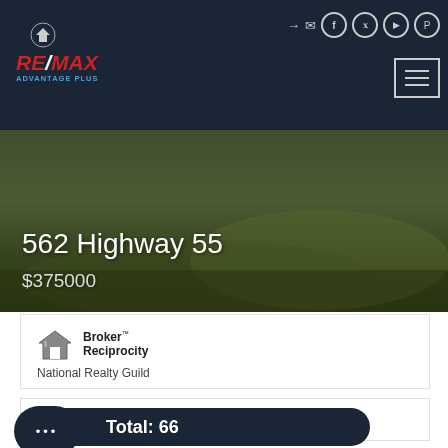RE/MAX ADVANTAGE PLUS — Navigation header
[Figure (photo): Outdoor landscape photo showing grassy terrain used as property listing background image]
562 Highway 55
$375000
[Figure (logo): Broker Reciprocity logo with house icon]
National Realty Guild
Medina Listings Summary
Total: 66